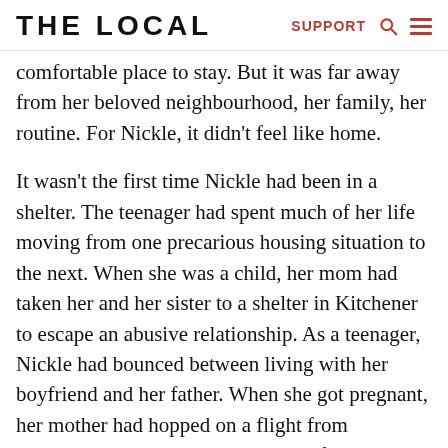THE LOCAL  SUPPORT
comfortable place to stay. But it was far away from her beloved neighbourhood, her family, her routine. For Nickle, it didn't feel like home.
It wasn't the first time Nickle had been in a shelter. The teenager had spent much of her life moving from one precarious housing situation to the next. When she was a child, her mom had taken her and her sister to a shelter in Kitchener to escape an abusive relationship. As a teenager, Nickle had bounced between living with her boyfriend and her father. When she got pregnant, her mother had hopped on a flight from Edmonton to be with her. The two of them ended up in a downtown, family-oriented